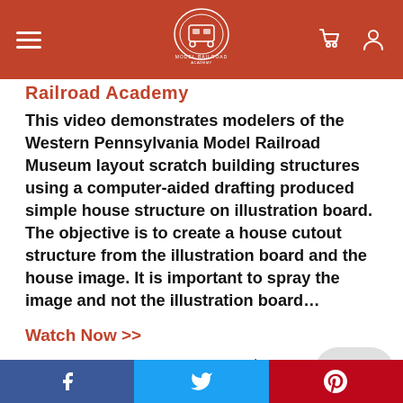Model Railroad Academy – site header with hamburger menu, logo, cart and account icons
Railroad Academy
This video demonstrates modelers of the Western Pennsylvania Model Railroad Museum layout scratch building structures using a computer-aided drafting produced simple house structure on illustration board. The objective is to create a house cutout structure from the illustration board and the house image. It is important to spray the image and not the illustration board…
Watch Now >>
1  2  3  4  >  Social share: Facebook, Twitter, Pinterest